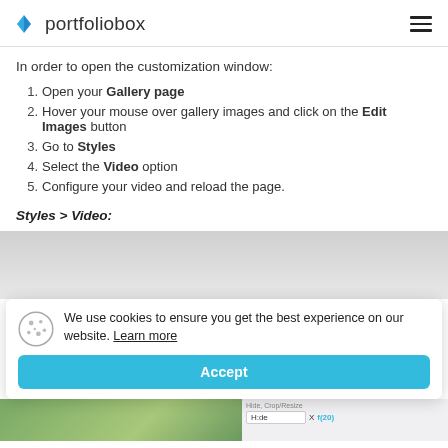portfoliobox
In order to open the customization window:
Open your Gallery page
Hover your mouse over gallery images and click on the Edit Images button
Go to Styles
Select the Video option
Configure your video and reload the page.
Styles > Video:
[Figure (screenshot): Cookie consent overlay on top of a screenshot of the Portfoliobox website interface, showing a cookie notice with 'Learn more' link and an 'Accept' button, with a partial view of a gallery interface below.]
We use cookies to ensure you get the best experience on our website. Learn more
Accept